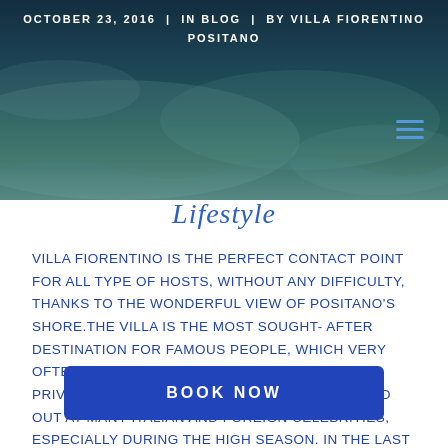OCTOBER 23, 2016 | IN BLOG | BY VILLA FIORENTINO POSITANO
[Figure (photo): Background header photo of coastal water and shore, teal/blue tones with person partially visible]
Lifestyle
Villa Fiorentino is the perfect contact point for all type of hosts, without any difficulty, thanks to the wonderful view of Positano's shore. The villa is the most sought-after destination for famous people, which very often choose it to relax in an elegant and private place. This oasis of peace is hanged out at many Italian and Foreign celebrities, especially during the high season. In the last ... been afforded the opportunity of hosting
BOOK NOW